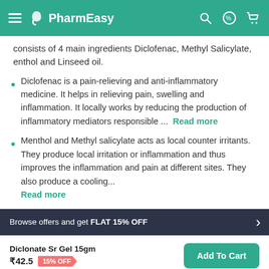PharmEasy
consists of 4 main ingredients Diclofenac, Methyl Salicylate, enthol and Linseed oil.
Diclofenac is a pain-relieving and anti-inflammatory medicine. It helps in relieving pain, swelling and inflammation. It locally works by reducing the production of inflammatory mediators responsible ... Read more
Menthol and Methyl salicylate acts as local counter irritants. They produce local irritation or inflammation and thus improves the inflammation and pain at different sites. They also produce a cooling... Read more
Browse offers and get FLAT 15% OFF
Diclonate Sr Gel 15gm ₹42.5 15% OFF Add To Cart